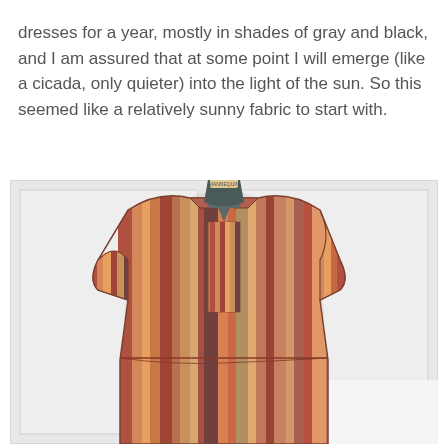dresses for a year, mostly in shades of gray and black, and I am assured that at some point I will emerge (like a cicada, only quieter) into the light of the sun. So this seemed like a relatively sunny fabric to start with.
[Figure (photo): Back view of a multicolored vertical-striped short-sleeve dress displayed on a dark dressmaker's mannequin, photographed against a white paneled wall background. The dress features warm tones of red, orange, yellow, brown, and pink stripes.]